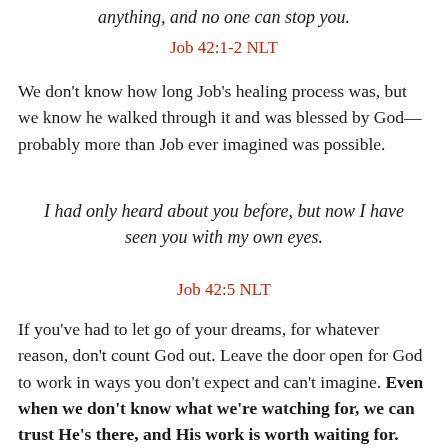anything, and no one can stop you.
Job 42:1-2 NLT
We don't know how long Job's healing process was, but we know he walked through it and was blessed by God—probably more than Job ever imagined was possible.
I had only heard about you before, but now I have seen you with my own eyes.
Job 42:5 NLT
If you've had to let go of your dreams, for whatever reason, don't count God out. Leave the door open for God to work in ways you don't expect and can't imagine. Even when we don't know what we're watching for, we can trust He's there, and His work is worth waiting for.